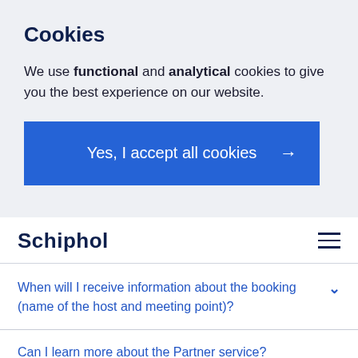Cookies
We use functional and analytical cookies to give you the best experience on our website.
[Figure (other): Blue button labeled 'Yes, I accept all cookies' with a right-pointing arrow]
Schiphol
When will I receive information about the booking (name of the host and meeting point)?
Can I learn more about the Partner service?